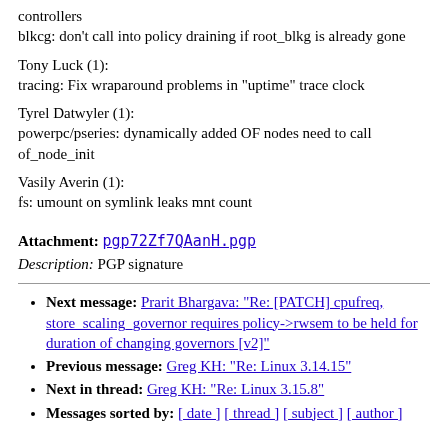controllers
blkcg: don't call into policy draining if root_blkg is already gone
Tony Luck (1):
tracing: Fix wraparound problems in "uptime" trace clock
Tyrel Datwyler (1):
powerpc/pseries: dynamically added OF nodes need to call of_node_init
Vasily Averin (1):
fs: umount on symlink leaks mnt count
Attachment: pgp72Zf7QAanH.pgp
Description: PGP signature
Next message: Prarit Bhargava: "Re: [PATCH] cpufreq, store_scaling_governor requires policy->rwsem to be held for duration of changing governors [v2]"
Previous message: Greg KH: "Re: Linux 3.14.15"
Next in thread: Greg KH: "Re: Linux 3.15.8"
Messages sorted by: [ date ] [ thread ] [ subject ] [ author ]